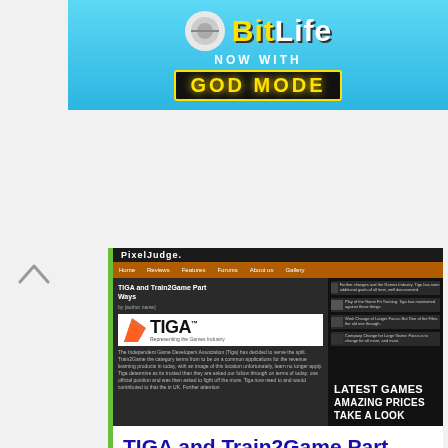[Figure (screenshot): BitLife advertisement banner - 'NOW WITH GOD MODE' on cyan/blue background with yellow text]
[Figure (screenshot): Screenshot of Pixel Judge website showing article 'TIGA and Train2Game Part Ways' with TIGA logo (representing the Games Industry), website navigation, and sidebar showing 'LATEST GAMES AMAZING PRICES TAKE A LOOK']
TIGA and Train2Game Part Ways - Pixel Judge
http://pixeljudge.com/old_posts/tiga-and-train2game-part-ways/
Apr 10, 2015 – Train2Game is a distance learning provider, offering courses in a number of Game Industry disciplines. ... Due